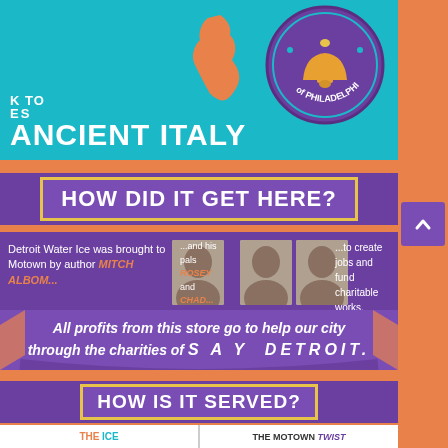[Figure (infographic): Top teal section showing partial text 'k to ANCIENT ITALY', an orange map of Italy, and a purple/teal bell circle with 'of Philadelphia']
HOW DID IT GET HERE?
Detroit Water Ice was brought to Motown by author MITCH ALBOM... ...and his pals ROSEY and CHAD... ...to create jobs and fund charitable works.
All profits from this store go to help our city through the charities of SAY DETROIT.
HOW IS IT SERVED?
THE ICE
THE MOTOWN TWIST
Choose from our many delicious